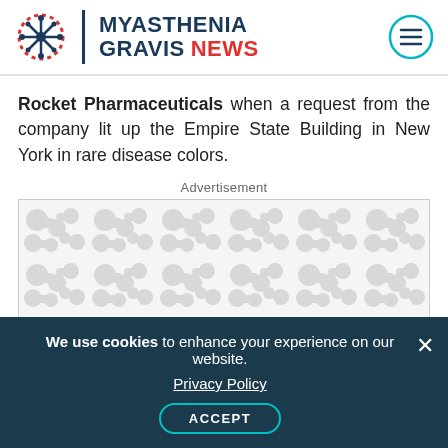MYASTHENIA GRAVIS NEWS
Rocket Pharmaceuticals when a request from the company lit up the Empire State Building in New York in rare disease colors.
Advertisement
[Figure (other): Advertisement placeholder with repeating grey molecule/cell pattern on white background]
We use cookies to enhance your experience on our website. Privacy Policy ACCEPT